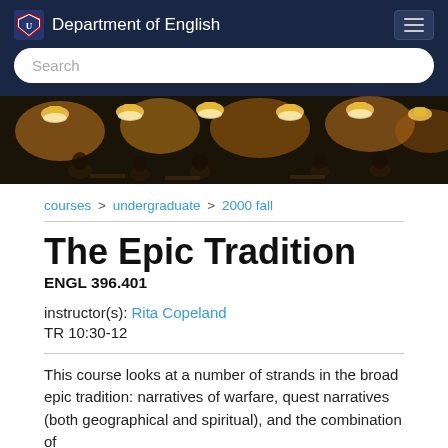Department of English
[Figure (photo): Restaurant or dining hall interior with warm yellow pendant lights, people seated at tables in dim atmosphere]
courses > undergraduate > 2000 fall
The Epic Tradition
ENGL 396.401
instructor(s): Rita Copeland
TR 10:30-12
This course looks at a number of strands in the broad epic tradition: narratives of warfare, quest narratives (both geographical and spiritual), and the combination of